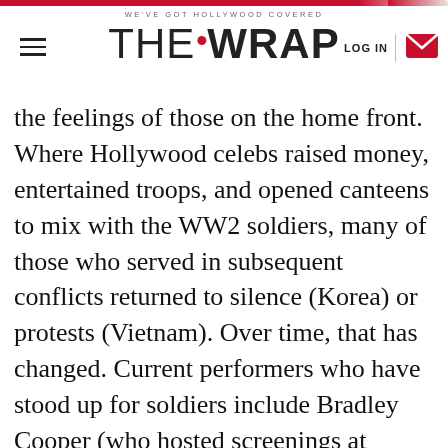WE'VE GOT HOLLYWOOD COVERED — THE WRAP
the feelings of those on the home front. Where Hollywood celebs raised money, entertained troops, and opened canteens to mix with the WW2 soldiers, many of those who served in subsequent conflicts returned to silence (Korea) or protests (Vietnam). Over time, that has changed. Current performers who have stood up for soldiers include Bradley Cooper (who hosted screenings at veterans hospitals), Mark Wahlberg (Active in the Wounded Warrior Project) and Jon Stewart. (who offered internships to veterans), Michael B. Jordan and Pam Dawber have supported a Los Angeles organization called Village for Vets.